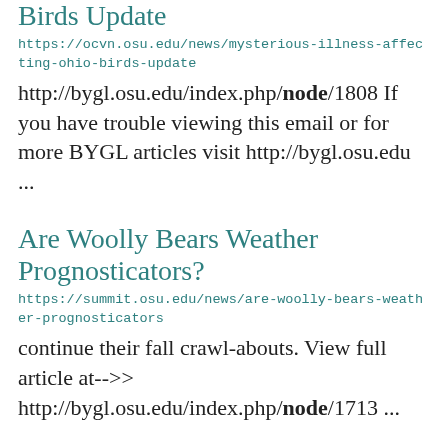Birds Update
https://ocvn.osu.edu/news/mysterious-illness-affecting-ohio-birds-update
http://bygl.osu.edu/index.php/node/1808 If you have trouble viewing this email or for more BYGL articles visit http://bygl.osu.edu
...
Are Woolly Bears Weather Prognosticators?
https://summit.osu.edu/news/are-woolly-bears-weather-prognosticators
continue their fall crawl-abouts. View full article at-->> http://bygl.osu.edu/index.php/node/1713 ...